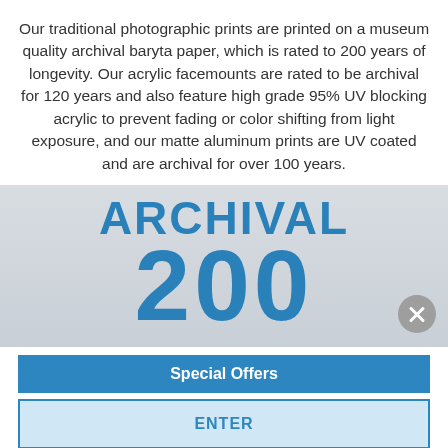Our traditional photographic prints are printed on a museum quality archival baryta paper, which is rated to 200 years of longevity. Our acrylic facemounts are rated to be archival for 120 years and also feature high grade 95% UV blocking acrylic to prevent fading or color shifting from light exposure, and our matte aluminum prints are UV coated and are archival for over 100 years.
[Figure (infographic): Large bold blue text reading 'ARCHIVAL' and below it the number '200' in very large bold blue numerals, on a gray gradient background. A gray close (X) button appears in the bottom right.]
Special Offers
ENTER